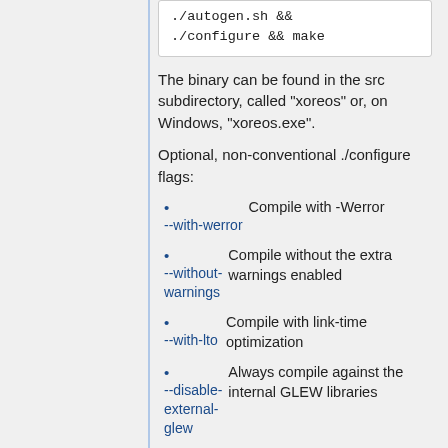./configure && make
The binary can be found in the src subdirectory, called "xoreos" or, on Windows, "xoreos.exe".
Optional, non-conventional ./configure flags:
--with-werror   Compile with -Werror
--without-warnings   Compile without the extra warnings enabled
--with-lto   Compile with link-time optimization
--disable-external-glew   Always compile against the internal GLEW libraries